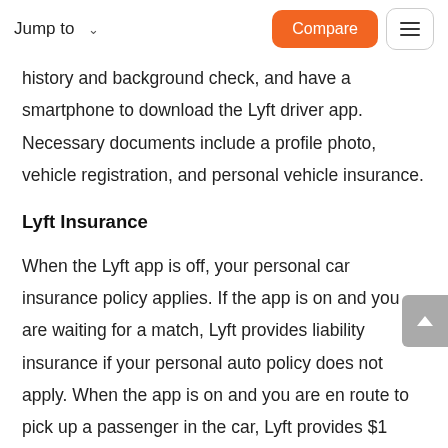Jump to   Compare ☰
history and background check, and have a smartphone to download the Lyft driver app. Necessary documents include a profile photo, vehicle registration, and personal vehicle insurance.
Lyft Insurance
When the Lyft app is off, your personal car insurance policy applies. If the app is on and you are waiting for a match, Lyft provides liability insurance if your personal auto policy does not apply. When the app is on and you are en route to pick up a passenger in the car, Lyft provides $1 million in third-party liability,